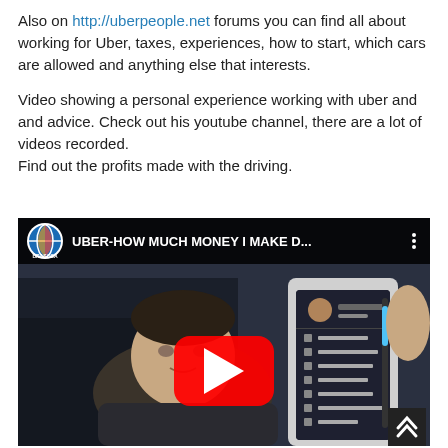Also on http://uberpeople.net forums you can find all about working for Uber, taxes, experiences, how to start, which cars are allowed and anything else that interests.
Video showing a personal experience working with uber and and advice. Check out his youtube channel, there are a lot of videos recorded.
Find out the profits made with the driving.
[Figure (screenshot): YouTube video thumbnail showing a man in a car holding a smartphone displaying the Uber driver app. The video title reads 'UBER-HOW MUCH MONEY I MAKE D...' with a YouTube play button overlay. The channel icon shows a colorful globe logo with 'BRASOSA' text.]